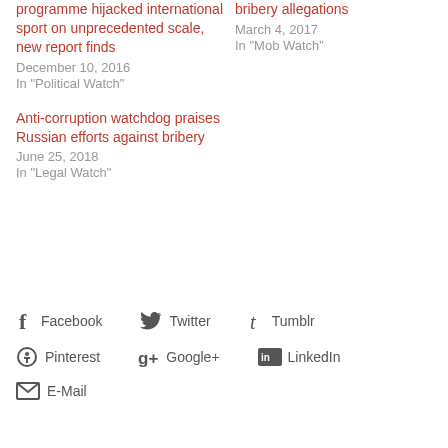programme hijacked international sport on unprecedented scale, new report finds
December 10, 2016
In "Political Watch"
bribery allegations
March 4, 2017
In "Mob Watch"
Anti-corruption watchdog praises Russian efforts against bribery
June 25, 2018
In "Legal Watch"
Facebook   Twitter   Tumblr   Pinterest   Google+   LinkedIn   E-Mail